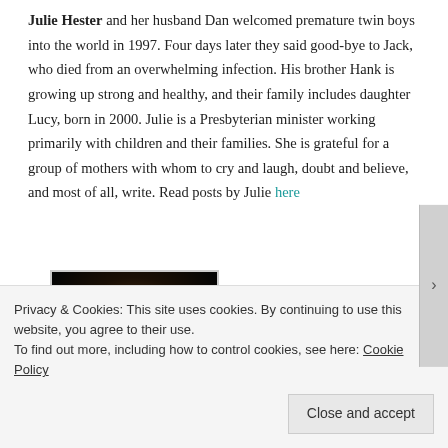Julie Hester and her husband Dan welcomed premature twin boys into the world in 1997. Four days later they said good-bye to Jack, who died from an overwhelming infection. His brother Hank is growing up strong and healthy, and their family includes daughter Lucy, born in 2000. Julie is a Presbyterian minister working primarily with children and their families. She is grateful for a group of mothers with whom to cry and laugh, doubt and believe, and most of all, write. Read posts by Julie here
[Figure (photo): Portrait photo of a young man with dark hair against a dark background]
Privacy & Cookies: This site uses cookies. By continuing to use this website, you agree to their use.
To find out more, including how to control cookies, see here: Cookie Policy
Close and accept